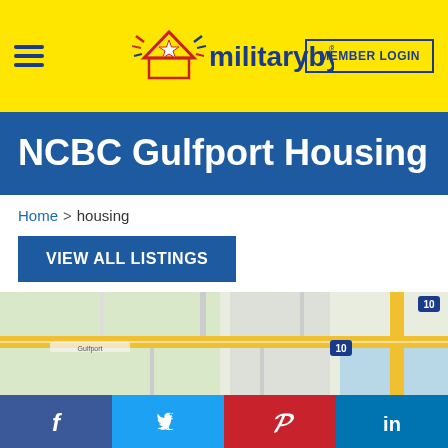[Figure (logo): militarybyowner.com logo with star icon on yellow background, hamburger menu on left, MEMBER LOGIN button on right]
NCBC Gulfport Housing
Home > housing
VIEW ALL LISTINGS
[Figure (map): Google Maps partial view showing road map of Gulfport area with Interstate 10 visible]
[Figure (infographic): Social media sharing bar with Facebook, Twitter, Pinterest, and LinkedIn buttons]